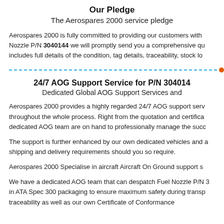Our Pledge
The Aerospares 2000 service pledge
Aerospares 2000 is fully committed to providing our customers with Nozzle P/N 3040144 we will promptly send you a comprehensive qu includes full details of the condition, tag details, traceability, stock lo
24/7 AOG Support Service for P/N 304014
Dedicated Global AOG Support Services and
Aerospares 2000 provides a highly regarded 24/7 AOG support serv throughout the whole process. Right from the quotation and certifica dedicated AOG team are on hand to professionally manage the succ
The support is further enhanced by our own dedicated vehicles and a shipping and delivery requirements should you so require.
Aerospares 2000 Specialise in aircraft Aircraft On Ground support s
We have a dedicated AOG team that can despatch Fuel Nozzle P/N 3 in ATA Spec 300 packaging to ensure maximum safety during transp traceability as well as our own Certificate of Conformance